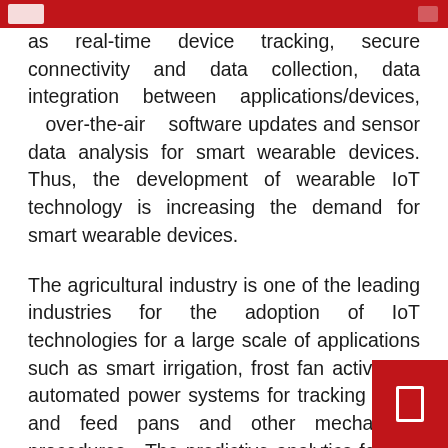as real-time device tracking, secure connectivity and data collection, data integration between applications/devices, over-the-air software updates and sensor data analysis for smart wearable devices. Thus, the development of wearable IoT technology is increasing the demand for smart wearable devices.
The agricultural industry is one of the leading industries for the adoption of IoT technologies for a large scale of applications such as smart irrigation, frost fan activation, automated power systems for tracking tanks and feed pans and other mechanized procedures. The predictive analytics feature offered by the IoT device for smart agriculture is the major trend in the agriculture industry, which helps farmers to plan crop production and storage,